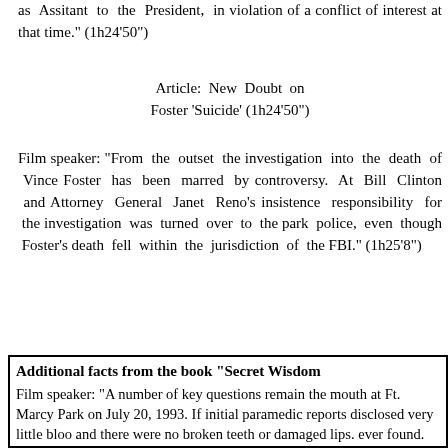as Assitant to the President, in violation of a conflict of interest at that time." (1h24'50")
Article: New Doubt on Foster 'Suicide' (1h24'50")
Film speaker: "From the outset the investigation into the death of Vince Foster has been marred by controversy. At Bill Clinton and Attorney General Janet Reno's insistence responsibility for the investigation was turned over to the park police, even though Foster's death fell within the jurisdiction of the FBI." (1h25'8")
Additional facts from the book "Secret Wisdom
Film speaker: "A number of key questions remain the mouth at Ft. Marcy Park on July 20, 1993. If initial paramedic reports disclosed very little bloo and there were no broken teeth or damaged lips. ever found.